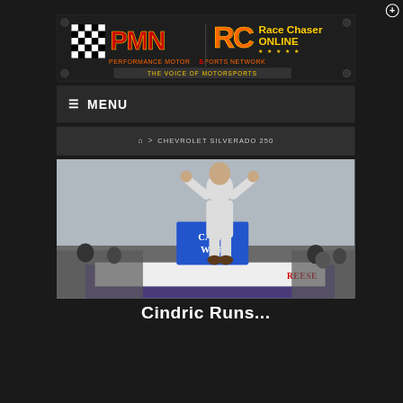[Figure (logo): PMN Performance Motorsports Network and Race Chaser Online banner logo with checkered flag and text 'THE VOICE OF MOTORSPORTS']
☰ MENU
⌂  >  CHEVROLET SILVERADO 250
[Figure (photo): Racing driver in white firesuit standing on top of a race truck with both fists raised in victory celebration. A Camp World sign is visible and REESE branding on the truck. Crowd in background.]
Cindric Runs...